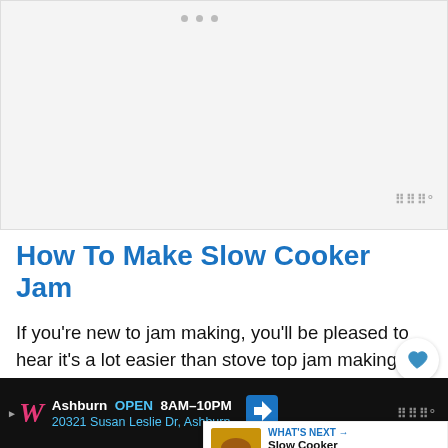[Figure (photo): Placeholder image area for slow cooker jam recipe photo, light gray background with three dots at top center and watermark at bottom right]
How To Make Slow Cooker Jam
If you're new to jam making, you'll be pleased to hear it's a lot easier than stove top jam making. There's no need for a thermometer to check the setting point. It's simply a case of simmer away until your jam is nice &
[Figure (other): What's Next panel showing a thumbnail of Slow Cooker Chicken... with blue arrow label]
[Figure (other): Advertisement banner: Walgreens, Ashburn OPEN 8AM-10PM, 20321 Susan Leslie Dr, Ashburn with navigation icon and watermark]